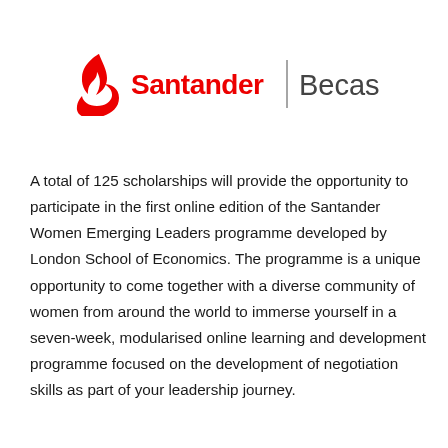[Figure (logo): Santander Becas logo — red flame/hand icon followed by 'Santander' in red, a vertical grey separator bar, then 'Becas' in dark grey]
A total of 125 scholarships will provide the opportunity to participate in the first online edition of the Santander Women Emerging Leaders programme developed by London School of Economics. The programme is a unique opportunity to come together with a diverse community of women from around the world to immerse yourself in a seven-week, modularised online learning and development programme focused on the development of negotiation skills as part of your leadership journey.